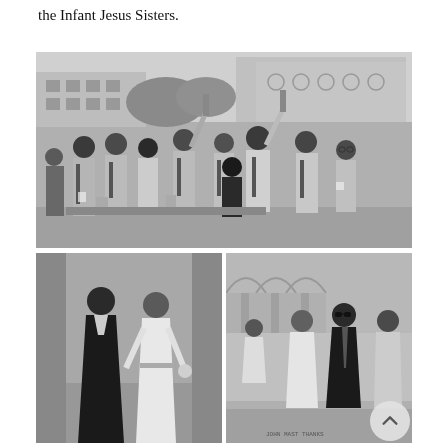the Infant Jesus Sisters.
[Figure (photo): Black and white photograph of a group of young men in white shirts and ties celebrating outdoors, raising bottles/cups, with a colonial-style building in the background. A mix of ethnicities visible.]
[Figure (photo): Black and white photograph of two people walking — one in dark robes with a large cross necklace (bishop/clergy), the other in a white robe (priest), outdoors on a path.]
[Figure (photo): Black and white photograph showing a priest in white robes greeting a man in a dark suit, with other people visible in the background near a building with arched columns.]